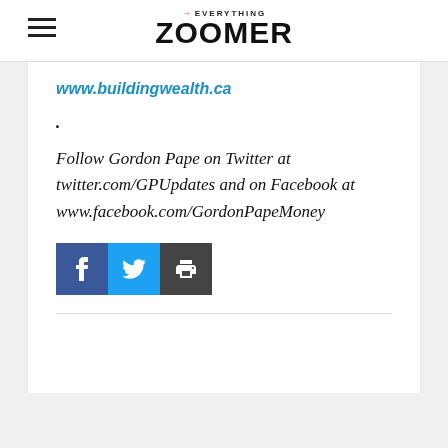EVERYTHING ZOOMER
www.buildingwealth.ca.
Follow Gordon Pape on Twitter at twitter.com/GPUpdates and on Facebook at www.facebook.com/GordonPapeMoney
[Figure (infographic): Social share buttons: Facebook (dark blue), Twitter (light blue), Print (dark gray)]